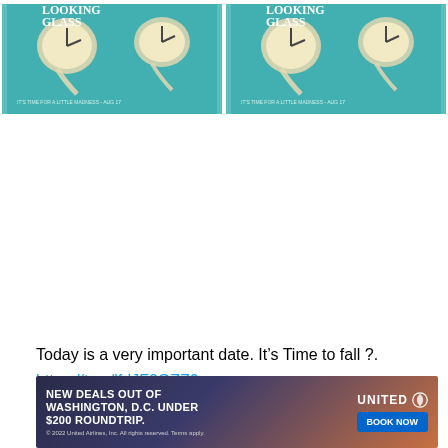[Figure (photo): Two side-by-side movie poster images for 'Looking Glass' with text 'IT'S TIME FOR A LITTLE MADNESS - AUG 17' and melting clocks on teal background]
Today is a very important date. It's Time to fall ?.
https://t.co/lfdJF0GZZ0
[Figure (photo): United Airlines advertisement: NEW DEALS OUT OF WASHINGTON, D.C. UNDER $200 ROUNDTRIP. BOOK NOW. © 2022 United Airlines, Inc. All rights reserved. Terms apply.]